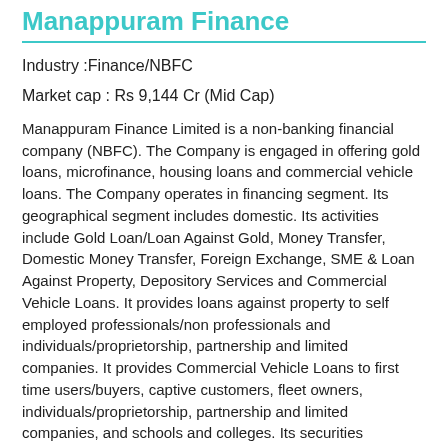Manappuram Finance
Industry :Finance/NBFC
Market cap : Rs 9,144 Cr (Mid Cap)
Manappuram Finance Limited is a non-banking financial company (NBFC). The Company is engaged in offering gold loans, microfinance, housing loans and commercial vehicle loans. The Company operates in financing segment. Its geographical segment includes domestic. Its activities include Gold Loan/Loan Against Gold, Money Transfer, Domestic Money Transfer, Foreign Exchange, SME & Loan Against Property, Depository Services and Commercial Vehicle Loans. It provides loans against property to self employed professionals/non professionals and individuals/proprietorship, partnership and limited companies. It provides Commercial Vehicle Loans to first time users/buyers, captive customers, fleet owners, individuals/proprietorship, partnership and limited companies, and schools and colleges. Its securities available for Dematerialization (Demat) include equity